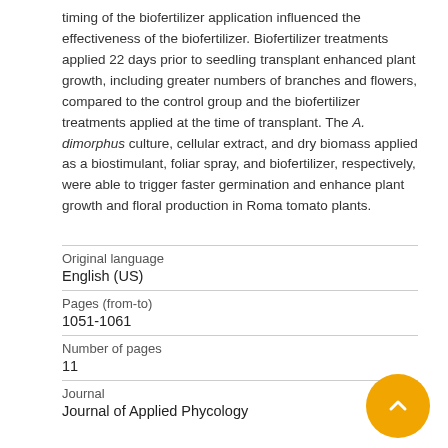timing of the biofertilizer application influenced the effectiveness of the biofertilizer. Biofertilizer treatments applied 22 days prior to seedling transplant enhanced plant growth, including greater numbers of branches and flowers, compared to the control group and the biofertilizer treatments applied at the time of transplant. The A. dimorphus culture, cellular extract, and dry biomass applied as a biostimulant, foliar spray, and biofertilizer, respectively, were able to trigger faster germination and enhance plant growth and floral production in Roma tomato plants.
| Original language |  |
| English (US) |  |
| Pages (from-to) |  |
| 1051-1061 |  |
| Number of pages |  |
| 11 |  |
| Journal |  |
| Journal of Applied Phycology |  |